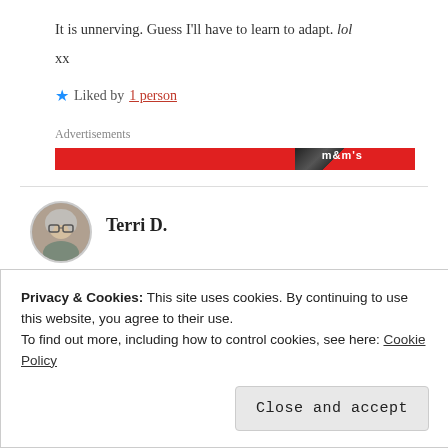It is unnerving. Guess I'll have to learn to adapt. lol
xx
★ Liked by 1 person
Advertisements
[Figure (other): Red M&M's advertisement banner]
Terri D.
[Figure (photo): Avatar photo of Terri D., elderly woman with gray hair and glasses]
Privacy & Cookies: This site uses cookies. By continuing to use this website, you agree to their use.
To find out more, including how to control cookies, see here: Cookie Policy
Close and accept
posted! Merry Christmas! xo